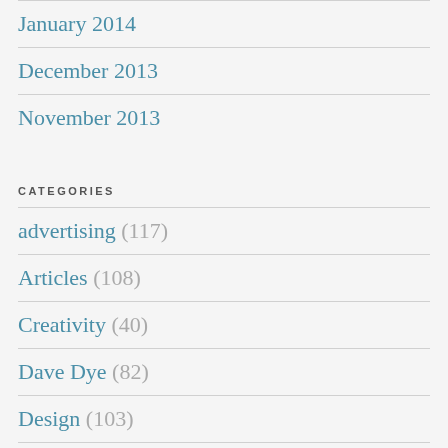January 2014
December 2013
November 2013
CATEGORIES
advertising (117)
Articles (108)
Creativity (40)
Dave Dye (82)
Design (103)
Fashion (82)